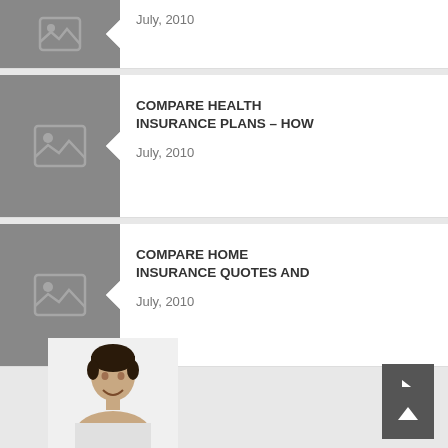[Figure (screenshot): Partial top card showing date July 2010 with grey placeholder image thumbnail]
July, 2010
[Figure (screenshot): Article card with grey placeholder image and title COMPARE HEALTH INSURANCE PLANS - HOW]
COMPARE HEALTH INSURANCE PLANS – HOW
July, 2010
[Figure (screenshot): Article card with grey placeholder image and title COMPARE HOME INSURANCE QUOTES AND]
COMPARE HOME INSURANCE QUOTES AND
July, 2010
[Figure (photo): Profile photo of a man with dark hair smiling, shown from shoulders up]